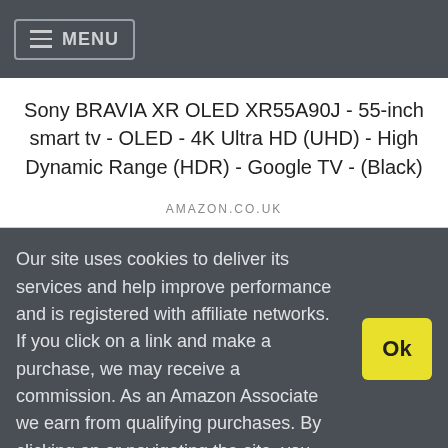≡ MENU
Sony BRAVIA XR OLED XR55A90J - 55-inch smart tv - OLED - 4K Ultra HD (UHD) - High Dynamic Range (HDR) - Google TV - (Black)
AMAZON.CO.UK
Our site uses cookies to deliver its services and help improve performance and is registered with affiliate networks. If you click on a link and make a purchase, we may receive a commission. As an Amazon Associate we earn from qualifying purchases. By clicking on or navigating the site, you agree to our use of cookies. View our Cookie Policy and Affiliate Disclosure